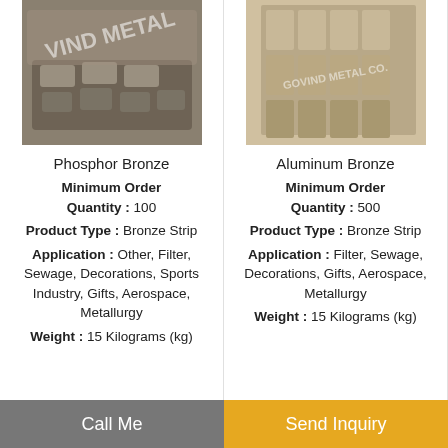[Figure (photo): Phosphor Bronze metal pieces/ingots with VIND METAL watermark]
Phosphor Bronze
Minimum Order Quantity : 100
Product Type : Bronze Strip
Application : Other, Filter, Sewage, Decorations, Sports Industry, Gifts, Aerospace, Metallurgy
Weight : 15 Kilograms (kg)
[Figure (photo): Aluminum Bronze metal ingots/bars with GOVIND METAL CO. watermark]
Aluminum Bronze
Minimum Order Quantity : 500
Product Type : Bronze Strip
Application : Filter, Sewage, Decorations, Gifts, Aerospace, Metallurgy
Weight : 15 Kilograms (kg)
Call Me | Send Inquiry